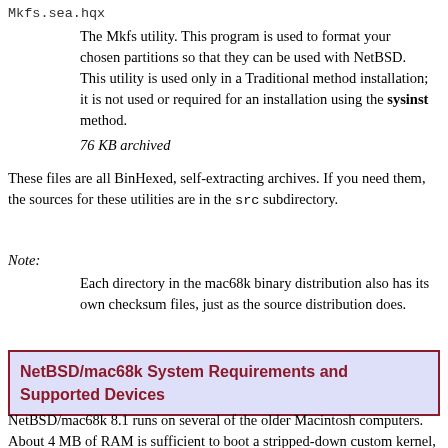Mkfs.sea.hqx
The Mkfs utility. This program is used to format your chosen partitions so that they can be used with NetBSD. This utility is used only in a Traditional method installation; it is not used or required for an installation using the sysinst method.
76 KB archived
These files are all BinHexed, self-extracting archives. If you need them, the sources for these utilities are in the src subdirectory.
Note:
Each directory in the mac68k binary distribution also has its own checksum files, just as the source distribution does.
NetBSD/mac68k System Requirements and Supported Devices
NetBSD/mac68k 8.1 runs on several of the older Macintosh computers. About 4 MB of RAM is sufficient to boot a stripped-down custom kernel, and a subset of the system can be squeezed onto a 40 MB hard disk with considerable creativity and persistence. However, 140 MB of disk should be considered a